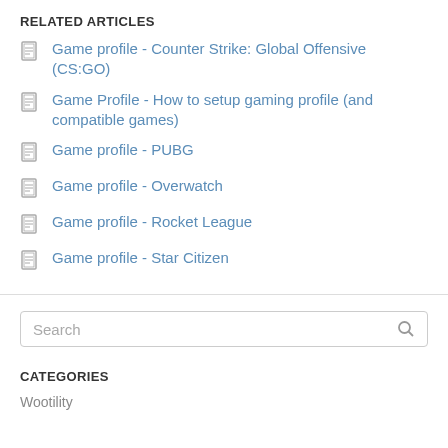RELATED ARTICLES
Game profile - Counter Strike: Global Offensive (CS:GO)
Game Profile - How to setup gaming profile (and compatible games)
Game profile - PUBG
Game profile - Overwatch
Game profile - Rocket League
Game profile - Star Citizen
Search
CATEGORIES
Wootility